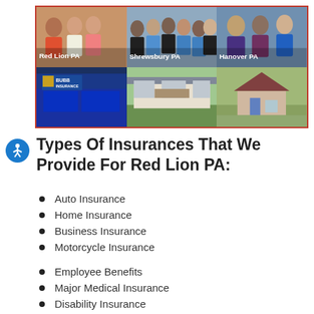[Figure (photo): Six-panel photo collage showing staff and office buildings for three locations: Red Lion PA (staff group photo and office with Bubb Insurance sign), Shrewsbury PA (staff group photo and office building), Hanover PA (staff group photo and house/building)]
Types Of Insurances That We Provide For Red Lion PA:
Auto Insurance
Home Insurance
Business Insurance
Motorcycle Insurance
Employee Benefits
Major Medical Insurance
Disability Insurance